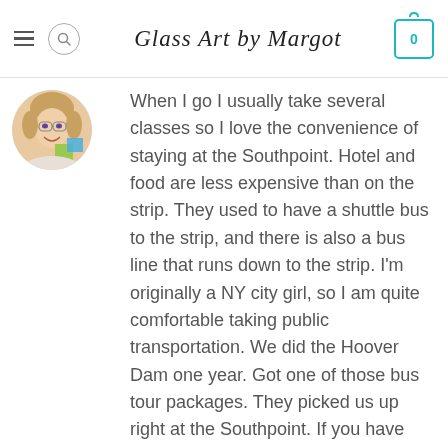Glass Art by Margot
[Figure (photo): Circular avatar photo of a smiling woman holding colorful glass art samples (green and blue squares)]
When I go I usually take several classes so I love the convenience of staying at the Southpoint. Hotel and food are less expensive than on the strip. They used to have a shuttle bus to the strip, and there is also a bus line that runs down to the strip. I'm originally a NY city girl, so I am quite comfortable taking public transportation. We did the Hoover Dam one year. Got one of those bus tour packages. They picked us up right at the Southpoint. If you have time one night, I'd go to Freemont Street